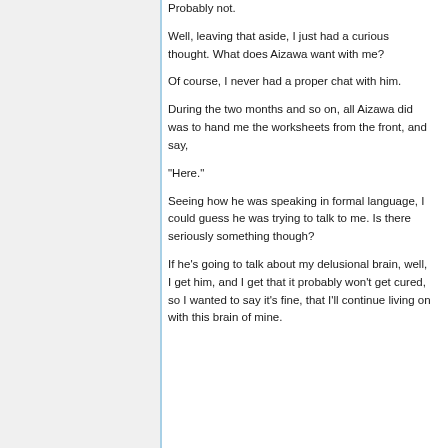Probably not.
Well, leaving that aside, I just had a curious thought. What does Aizawa want with me?
Of course, I never had a proper chat with him.
During the two months and so on, all Aizawa did was to hand me the worksheets from the front, and say,
"Here."
Seeing how he was speaking in formal language, I could guess he was trying to talk to me. Is there seriously something though?
If he's going to talk about my delusional brain, well, I get him, and I get that it probably won't get cured, so I wanted to say it's fine, that I'll continue living on with this brain of mine.